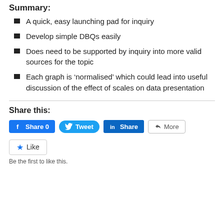Summary:
A quick, easy launching pad for inquiry
Develop simple DBQs easily
Does need to be supported by inquiry into more valid sources for the topic
Each graph is ‘normalised’ which could lead into useful discussion of the effect of scales on data presentation
Share this:
Facebook Share 0 | Tweet | LinkedIn Share | More
Like | Be the first to like this.